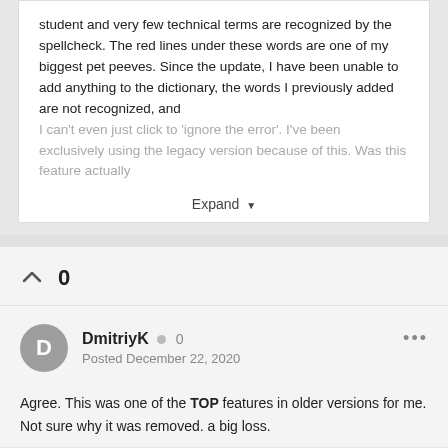student and very few technical terms are recognized by the spellcheck. The red lines under these words are one of my biggest pet peeves. Since the update, I have been unable to add anything to the dictionary, the words I previously added are not recognized, and I can't even just click to 'ignore the error'. I've been exclusively using the legacy version because of this. Was this feature actually
Expand
0
DmitriyK  0
Posted December 22, 2020
Agree. This was one of the TOP features in older versions for me. Not sure why it was removed. a big loss.